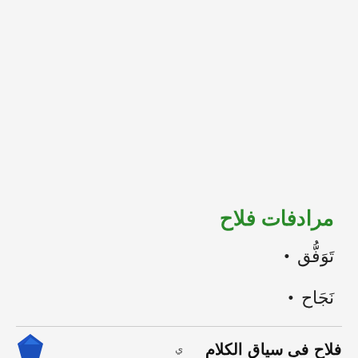مرادفات فلاح
تَوَفُّق
نَجَاح
فلاح فى سياق الكلام